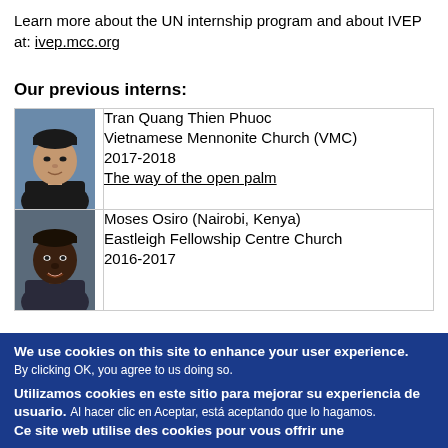Learn more about the UN internship program and about IVEP at: ivep.mcc.org
Our previous interns:
| Photo | Info |
| --- | --- |
| [photo of Tran Quang Thien Phuoc] | Tran Quang Thien Phuoc
Vietnamese Mennonite Church (VMC)
2017-2018
The way of the open palm |
| [photo of Moses Osiro] | Moses Osiro (Nairobi, Kenya)
Eastleigh Fellowship Centre Church
2016-2017 |
We use cookies on this site to enhance your user experience. By clicking OK, you agree to us doing so.
Utilizamos cookies en este sitio para mejorar su experiencia de usuario. Al hacer clic en Aceptar, está aceptando que lo hagamos.
Ce site web utilise des cookies pour vous offrir une...